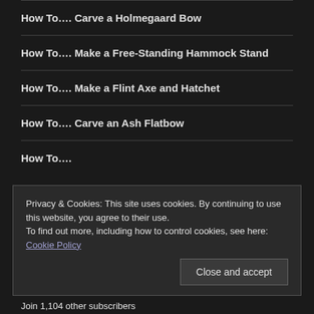How To…. Carve a Holmegaard Bow
How To…. Make a Free-Standing Hammock Stand
How To…. Make a Flint Axe and Hatchet
How To…. Carve an Ash Flatbow
How To….
BUSHCRAFT DAYS
Privacy & Cookies: This site uses cookies. By continuing to use this website, you agree to their use.
To find out more, including how to control cookies, see here: Cookie Policy
Join 1,104 other subscribers